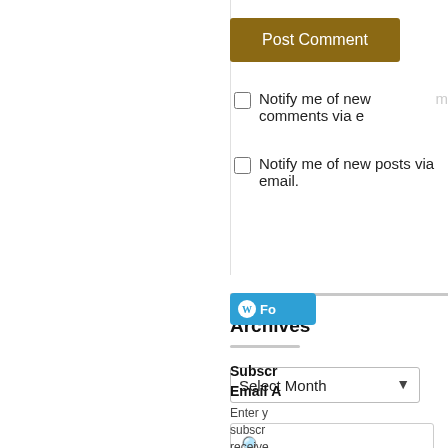Post Comment
Notify me of new comments via email.
Notify me of new posts via email.
Archives
Select Month
Fo
Subscr Email
Enter y subscr receive posts b
Emai
Su
Join 64